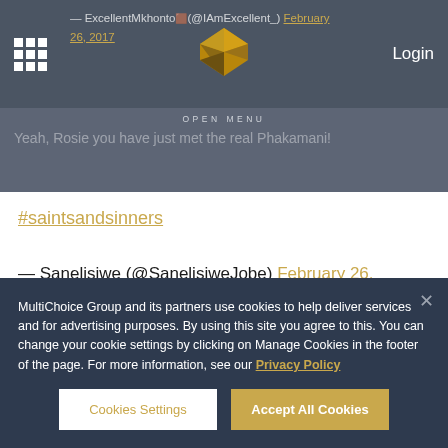— ExcellentMkhonto (@IAmExcellent_) February 26, 2017
OPEN MENU
Yeah, Rosie you have just met the real Phakamani!
#saintsandsinners
— Sanelisiwe (@SanelisiweJobe) February 26, 2017
Phakamani is not coming back Mamfundisi!! 🌍
MultiChoice Group and its partners use cookies to help deliver services and for advertising purposes. By using this site you agree to this. You can change your cookie settings by clicking on Manage Cookies in the footer of the page. For more information, see our Privacy Policy